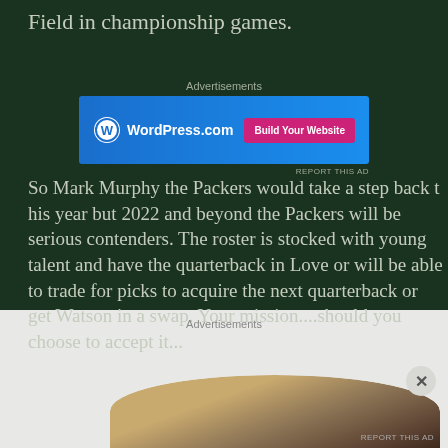Field in championship games.
[Figure (screenshot): WordPress.com advertisement banner with blue gradient background, WP logo on left, 'Build Your Website' pink button on right]
So Mark Murphy the Packers would take a step back this year but 2022 and beyond the Packers will be serious contenders. The roster is stocked with young talent and have the quarterback in Love or will be able to trade for picks to acquire the next quarterback or get Watson in a swap. Your mission....should you choose to accept it...
[Figure (photo): Close-up photo of a person, partially visible, circular crop showing top of head and wooden surface]
Advertisements
REPORT THIS AD